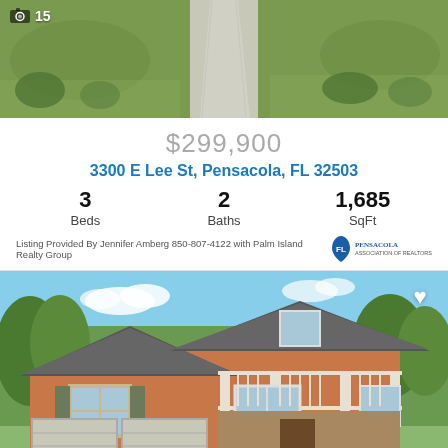[Figure (photo): Aerial or street-level photo of a grassy lot with a concrete path/driveway, green grass and shrubbery, with a camera icon and '15' badge in top left]
$299,900
3300 E Lee St, Pensacola, FL 32503
| Beds | Baths | SqFt |
| --- | --- | --- |
| 3 | 2 | 1,685 |
Listing Provided By Jennifer Amberg 850-807-4122 with Palm Island Realty Group
[Figure (photo): Exterior rendering of a two-story brick home with covered front porch, balcony, dark metal roof, white trim columns, two-car garage, set against a blue sky with trees. Heart/favorite icon in upper right.]